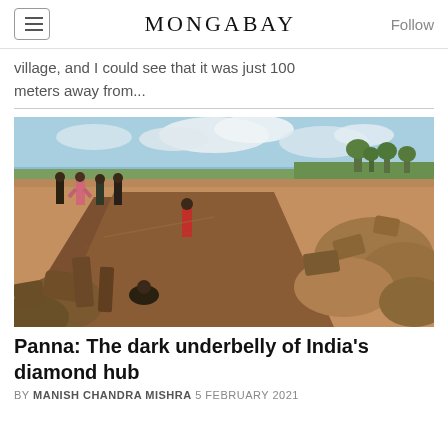MONGABAY
village, and I could see that it was just 100 meters away from...
[Figure (photo): People standing and working in an open diamond mine pit with rocks and rubble, green vegetation and partly cloudy sky in the background. Panna mining site, India.]
Panna: The dark underbelly of India's diamond hub
BY MANISH CHANDRA MISHRA 5 FEBRUARY 2021